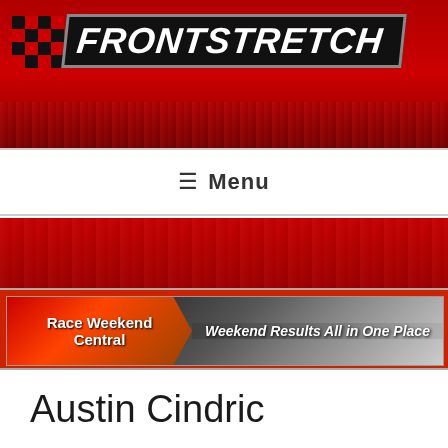[Figure (logo): Frontstretch website header banner with red background, checkered flag icon, and FRONTSTRETCH logo in bold italic white text on black background. Red racetrack crowd background at bottom.]
≡  Menu
[Figure (screenshot): Race Weekend Central banner ad: orange/red left side with 'Race Weekend Central' bold text, right side with blurred tire/track background and italic text 'Weekend Results All in One Place']
Austin Cindric